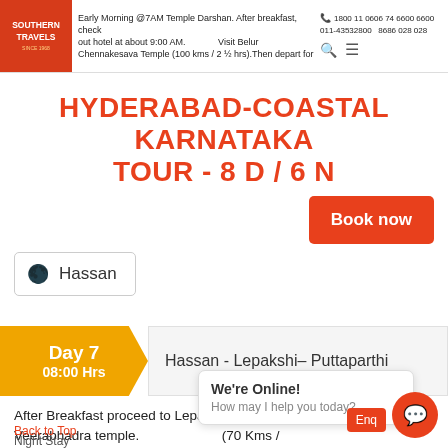Early Morning @7AM Temple Darshan. After breakfast, check out hotel at about 9:00 AM. Drive to Belur Chennakesava Temple (100 kms / 2 ½ hrs).Then depart for | 1800 11 0606 74 6600 6600 | 011-43532800 | 8686 028 028
HYDERABAD-COASTAL KARNATAKA TOUR - 8 D / 6 N
Book now
Hassan
Day 7  08:00 Hrs  Hassan - Lepakshi - Puttaparthi
After Breakfast proceed to Lepakshi (250 Kms / 5.5 hrs) – Visit Veerabhadra temple. Then proceed to Puttaparthi (70 Kms / 1.2 hrs). Evening visit S...
We're Online! How may I help you today?
Enq
Back to Top
Night Stay